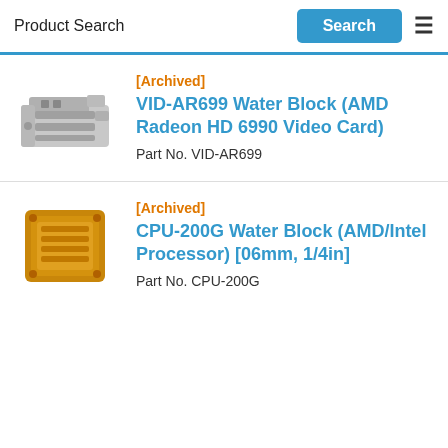Product Search | Search
[Archived]
VID-AR699 Water Block (AMD Radeon HD 6990 Video Card)
Part No. VID-AR699
[Figure (photo): Silver/grey metal water block for AMD Radeon HD 6990 video card]
[Archived]
CPU-200G Water Block (AMD/Intel Processor) [06mm, 1/4in]
Part No. CPU-200G
[Figure (photo): Gold/yellow CPU water block for AMD/Intel processors]